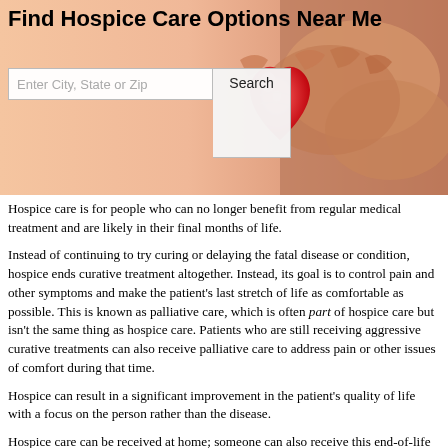Find Hospice Care Options Near Me
[Figure (photo): Elderly hands holding a red heart-shaped object, with a warm peach/orange background gradient on the left side serving as the hero banner area.]
Hospice care is for people who can no longer benefit from regular medical treatment and are likely in their final months of life.
Instead of continuing to try curing or delaying the fatal disease or condition, hospice ends curative treatment altogether. Instead, its goal is to control pain and other symptoms and make the patient’s last stretch of life as comfortable as possible. This is known as palliative care, which is often part of hospice care but isn’t the same thing as hospice care. Patients who are still receiving aggressive curative treatments can also receive palliative care to address pain or other issues of comfort during that time.
Hospice can result in a significant improvement in the patient’s quality of life with a focus on the person rather than the disease.
Hospice care can be received at home; someone can also receive this end-of-life care in a hospital, nursing home or private hospice facility. To qualify for care, a patient must typically be diagnosed